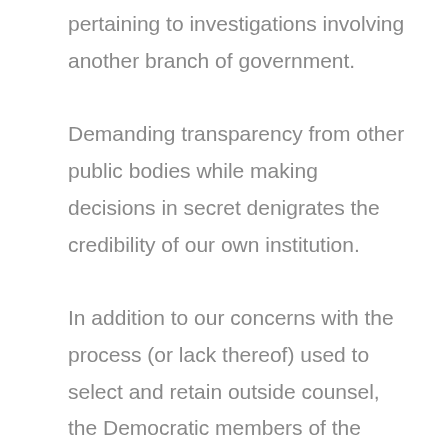pertaining to investigations involving another branch of government.

Demanding transparency from other public bodies while making decisions in secret denigrates the credibility of our own institution.

In addition to our concerns with the process (or lack thereof) used to select and retain outside counsel, the Democratic members of the House Judiciary are declining representation by Alan Ostegren because we believe his employment by the House is fraught with ethical concerns. He is currently a registered lobbyist working on behalf